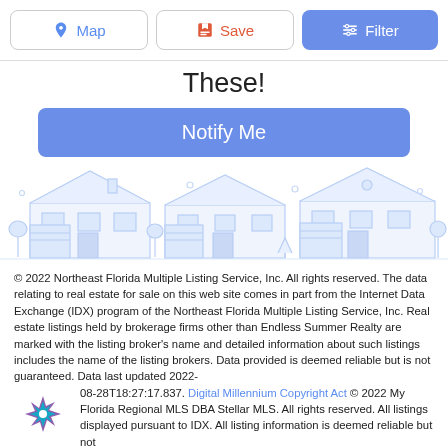Map | Save | Filter
These!
[Figure (other): Blue 'Notify Me' button]
[Figure (illustration): Line art illustration of suburban houses in light blue]
© 2022 Northeast Florida Multiple Listing Service, Inc. All rights reserved. The data relating to real estate for sale on this web site comes in part from the Internet Data Exchange (IDX) program of the Northeast Florida Multiple Listing Service, Inc. Real estate listings held by brokerage firms other than Endless Summer Realty are marked with the listing broker's name and detailed information about such listings includes the name of the listing brokers. Data provided is deemed reliable but is not guaranteed. Data last updated 2022-08-28T18:27:17.837. Digital Millennium Copyright Act © 2022 My Florida Regional MLS DBA Stellar MLS. All rights reserved. All listings displayed pursuant to IDX. All listing information is deemed reliable but not
[Figure (logo): Stellar MLS logo — purple and teal starburst]